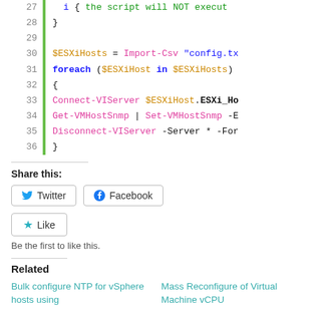[Figure (screenshot): Code block showing PowerShell script lines 27-36 with syntax highlighting. Line 27: i { the script will NOT execut (partial). Line 28: }. Line 29: (empty). Line 30: $ESXiHosts = Import-Csv "config.tx (partial). Line 31: foreach ($ESXiHost in $ESXiHosts). Line 32: {. Line 33: Connect-VIServer $ESXiHost.ESXi_Ho (partial). Line 34: Get-VMHostSnmp | Set-VMHostSnmp -E (partial). Line 35: Disconnect-VIServer -Server * -For (partial). Line 36: }]
Share this:
[Figure (screenshot): Share buttons row: Twitter and Facebook buttons with icons]
[Figure (screenshot): Like button with star icon and text: Be the first to like this.]
Related
Bulk configure NTP for vSphere hosts using
Mass Reconfigure of Virtual Machine vCPU